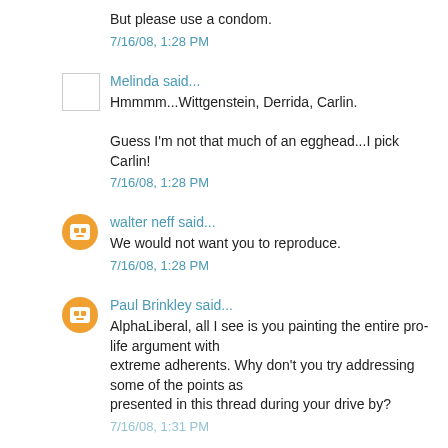But please use a condom.
7/16/08, 1:28 PM
Melinda said...
Hmmmm...Wittgenstein, Derrida, Carlin.
Guess I'm not that much of an egghead...I pick Carlin!
7/16/08, 1:28 PM
walter neff said...
We would not want you to reproduce.
7/16/08, 1:28 PM
Paul Brinkley said...
AlphaLiberal, all I see is you painting the entire pro-life argument with extreme adherents. Why don't you try addressing some of the points as presented in this thread during your drive by?
7/16/08, 1:31 PM